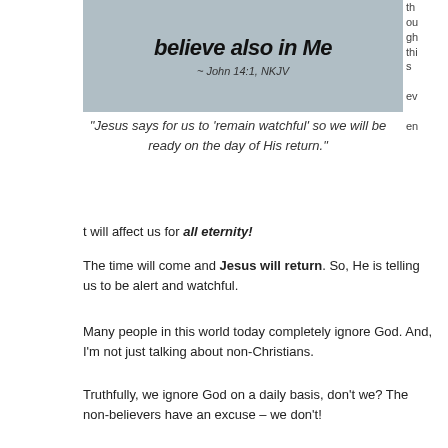[Figure (photo): Photo with overlaid text reading 'believe also in Me' and attribution '~ John 14:1, NKJV' with a person in background]
th ou gh thi s ev en t will affect us for all eternity!
"Jesus says for us to 'remain watchful' so we will be ready on the day of His return."
The time will come and Jesus will return. So, He is telling us to be alert and watchful.
Many people in this world today completely ignore God. And, I'm not just talking about non-Christians.
Truthfully, we ignore God on a daily basis, don't we? The non-believers have an excuse – we don't!
The deeds we do today (or this very minute) could be our last chance so let's give our hearts and souls to God.